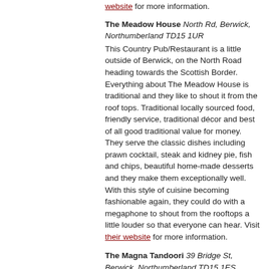for a quick coffee and enjoy the views and the laid back atmosphere. Visit their website for more information.
The Meadow House North Rd, Berwick, Northumberland TD15 1UR
This Country Pub/Restaurant is a little outside of Berwick, on the North Road heading towards the Scottish Border. Everything about The Meadow House is traditional and they like to shout it from the roof tops. Traditional locally sourced food, friendly service, traditional décor and best of all good traditional value for money. They serve the classic dishes including prawn cocktail, steak and kidney pie, fish and chips, beautiful home-made desserts and they make them exceptionally well. With this style of cuisine becoming fashionable again, they could do with a megaphone to shout from the rooftops a little louder so that everyone can hear. Visit their website for more information.
The Magna Tandoori 39 Bridge St, Berwick, Northumberland TD15 1ES
An Indian restaurant in a converted pub offers a somewhat disjointed location, but since it's recent refurbishment it has become an elegant and relaxing location